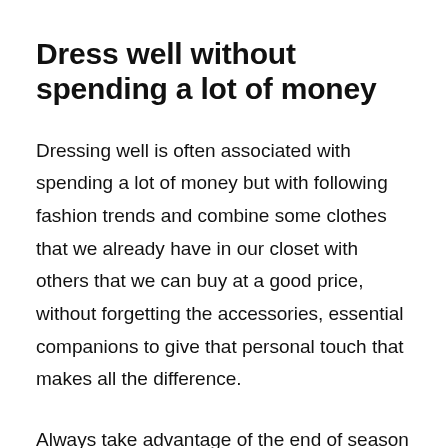Dress well without spending a lot of money
Dressing well is often associated with spending a lot of money but with following fashion trends and combine some clothes that we already have in our closet with others that we can buy at a good price, without forgetting the accessories, essential companions to give that personal touch that makes all the difference.
Always take advantage of the end of season